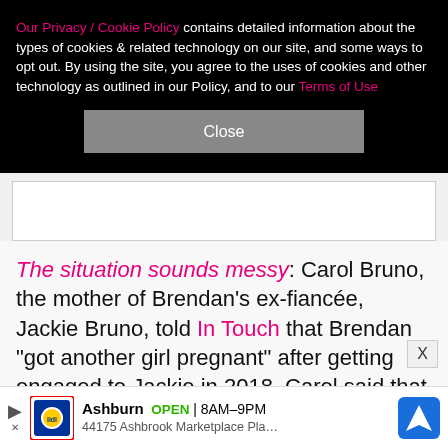Our Privacy / Cookie Policy contains detailed information about the types of cookies & related technology on our site, and some ways to opt out. By using the site, you agree to the uses of cookies and other technology as outlined in our Policy, and to our Terms of Use
Close
The situation sounds messy: Carol Bruno, the mother of Brendan's ex-fiancée, Jackie Bruno, told In Touch that Brendan "got another girl pregnant" after getting engaged to Jackie in 2018. Carol said that while her daughter "was in Sweden playing professional soccer, [she] got injured and came home, and [Kaihla] contacted her. She broke the news to her. [Brendan]
Ashburn OPEN 8AM–9PM 44175 Ashbrook Marketplace Pla…